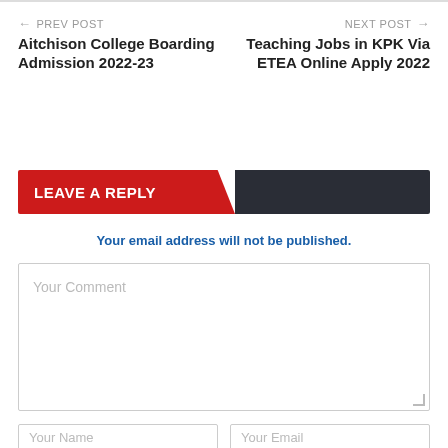← PREV POST
Aitchison College Boarding Admission 2022-23
NEXT POST →
Teaching Jobs in KPK Via ETEA Online Apply 2022
LEAVE A REPLY
Your email address will not be published.
Your Comment
Your Name
Your Email